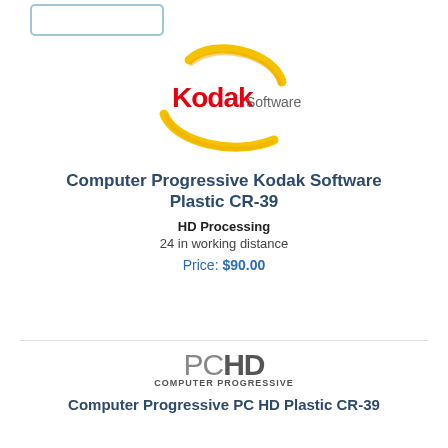[Figure (logo): Kodak Software logo with yellow swirl arcs and red Kodak text]
Computer Progressive Kodak Software Plastic CR-39
HD Processing
24 in working distance
Price: $90.00
[Figure (logo): PCHD Computer Progressive logo in grey]
Computer Progressive PC HD Plastic CR-39